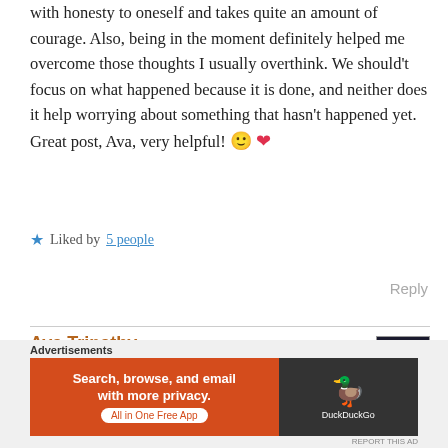with honesty to oneself and takes quite an amount of courage. Also, being in the moment definitely helped me overcome those thoughts I usually overthink. We should't focus on what happened because it is done, and neither does it help worrying about something that hasn't happened yet. Great post, Ava, very helpful! 🙂 ❤
★ Liked by 5 people
Reply
Ava Tripathy
2nd Aug 2020 at 7:28 am
Advertisements
Search, browse, and email with more privacy. All in One Free App | DuckDuckGo